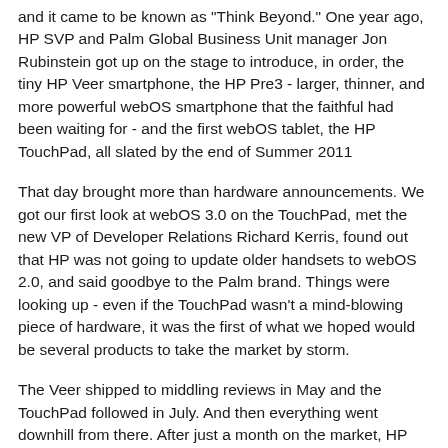and it came to be known as "Think Beyond." One year ago, HP SVP and Palm Global Business Unit manager Jon Rubinstein got up on the stage to introduce, in order, the tiny HP Veer smartphone, the HP Pre3 - larger, thinner, and more powerful webOS smartphone that the faithful had been waiting for - and the first webOS tablet, the HP TouchPad, all slated by the end of Summer 2011
That day brought more than hardware announcements. We got our first look at webOS 3.0 on the TouchPad, met the new VP of Developer Relations Richard Kerris, found out that HP was not going to update older handsets to webOS 2.0, and said goodbye to the Palm brand. Things were looking up - even if the TouchPad wasn't a mind-blowing piece of hardware, it was the first of what we hoped would be several products to take the market by storm.
The Veer shipped to middling reviews in May and the TouchPad followed in July. And then everything went downhill from there. After just a month on the market, HP cut the TouchPad's price by $100, and ten days after that pulled the rug out from under the webOS community by canceling all webOS hardware development. Since then we've gone through a hardware fire sale, a fired CEO, the loss of Korris, Rubinstoin, and many others, questions about the